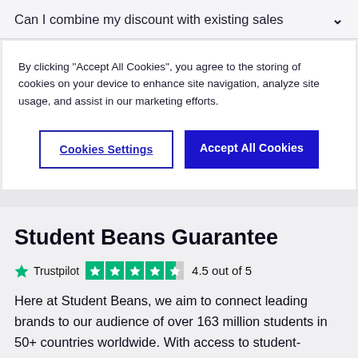Can I combine my discount with existing sales
By clicking "Accept All Cookies", you agree to the storing of cookies on your device to enhance site navigation, analyze site usage, and assist in our marketing efforts.
Cookies Settings
Accept All Cookies
Student Beans Guarantee
Trustpilot 4.5 out of 5
Here at Student Beans, we aim to connect leading brands to our audience of over 163 million students in 50+ countries worldwide. With access to student-